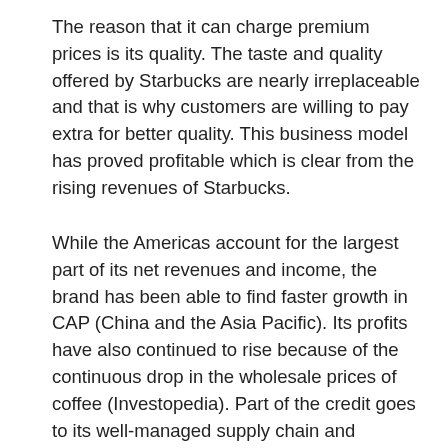The reason that it can charge premium prices is its quality. The taste and quality offered by Starbucks are nearly irreplaceable and that is why customers are willing to pay extra for better quality. This business model has proved profitable which is clear from the rising revenues of Starbucks.
While the Americas account for the largest part of its net revenues and income, the brand has been able to find faster growth in CAP (China and the Asia Pacific). Its profits have also continued to rise because of the continuous drop in the wholesale prices of coffee (Investopedia). Part of the credit goes to its well-managed supply chain and sourcing strategy. Moreover, its customers do not mind paying the premium prices for what the company offers. The Arabica coffee that the company sources is different from the normal Arabica